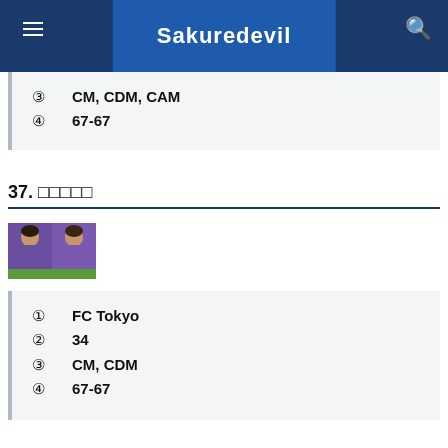Sakuredevil
③ CM, CDM, CAM
④ 67-67
37. □□□□□
[Figure (photo): Two soccer players wearing purple/blue uniforms]
① FC Tokyo
② 34□
③ CM, CDM
④ 67-67